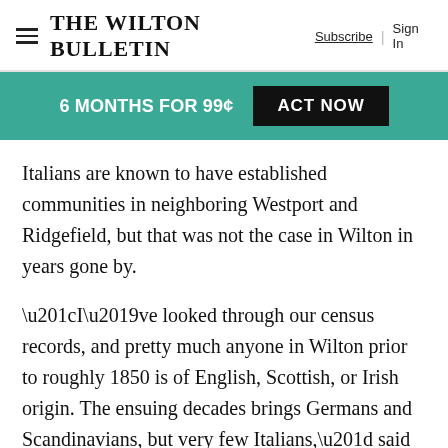The Wilton Bulletin — Subscribe | Sign In
6 MONTHS FOR 99¢  ACT NOW
Italians are known to have established communities in neighboring Westport and Ridgefield, but that was not the case in Wilton in years gone by.
“I’ve looked through our census records, and pretty much anyone in Wilton prior to roughly 1850 is of English, Scottish, or Irish origin. The ensuing decades brings Germans and Scandinavians, but very few Italians,” said Nick